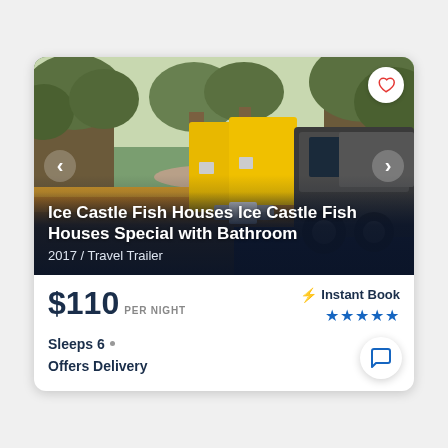[Figure (photo): Photo of yellow Ice Castle fish house trailers being towed by a dark pickup truck in a park with fallen autumn leaves and bare trees]
Ice Castle Fish Houses Ice Castle Fish Houses Special with Bathroom
2017 / Travel Trailer
$110 PER NIGHT
⚡ Instant Book ★★★★★
Sleeps 6 • Offers Delivery